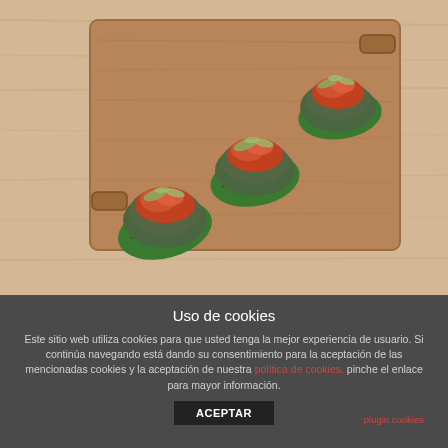[Figure (photo): Three appetizers or small bites with red/orange topping and green garnish, served on green leaves on a rectangular wooden serving board, placed on a light wood table surface.]
Uso de cookies
Este sitio web utiliza cookies para que usted tenga la mejor experiencia de usuario. Si continúa navegando está dando su consentimiento para la aceptación de las mencionadas cookies y la aceptación de nuestra política de cookies, pinche el enlace para mayor información.
ACEPTAR
plugin cookies